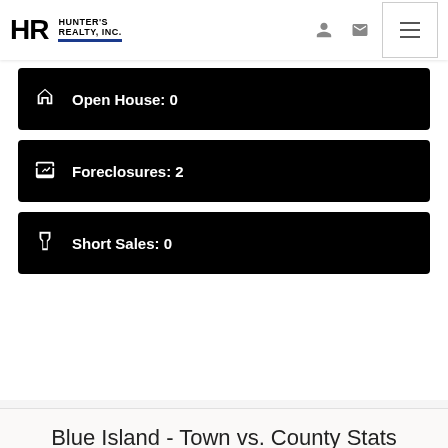Hunter's Realty, Inc.
Open House: 0
Foreclosures: 2
Short Sales: 0
Blue Island - Town vs. County Stats
Avg Price in Blue Island: $182,200 / County Avg